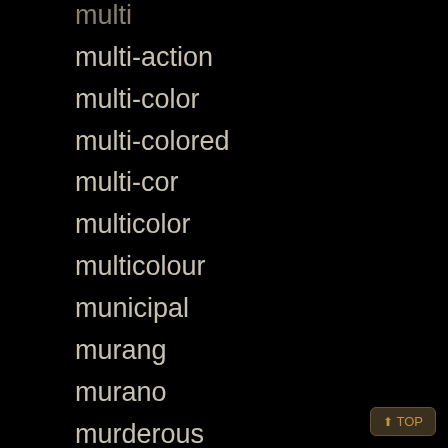multi
multi-action
multi-color
multi-colored
multi-cor
multicolor
multicolour
municipal
murang
murano
murderous
musical
musicbox
musikdose
must
nacimiento
nambe
narrow